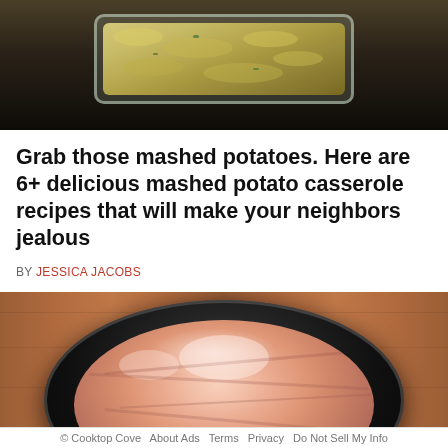[Figure (photo): Top-down view of a mashed potato casserole in a glass baking dish on a dark wooden surface]
Grab those mashed potatoes. Here are 6+ delicious mashed potato casserole recipes that will make your neighbors jealous
BY JESSICA JACOBS
[Figure (photo): Raw chicken pieces in a black slow cooker crock on a wooden cutting board]
© Cooktop Cove   About Ads   Terms   Privacy   Do Not Sell My Info